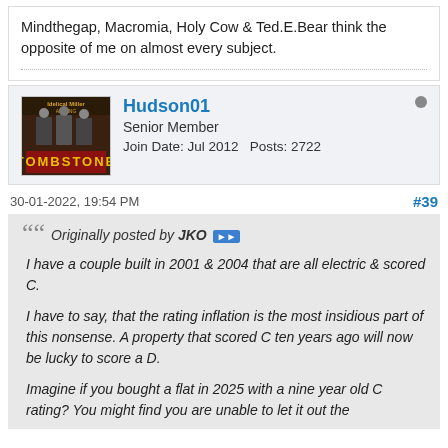Mindthegap, Macromia, Holy Cow & Ted.E.Bear think the opposite of me on almost every subject.
Hudson01
Senior Member
Join Date: Jul 2012   Posts: 2722
30-01-2022, 19:54 PM
#39
Originally posted by JKO

I have a couple built in 2001 & 2004 that are all electric & scored C.

I have to say, that the rating inflation is the most insidious part of this nonsense. A property that scored C ten years ago will now be lucky to score a D.

Imagine if you bought a flat in 2025 with a nine year old C rating? You might find you are unable to let it out the